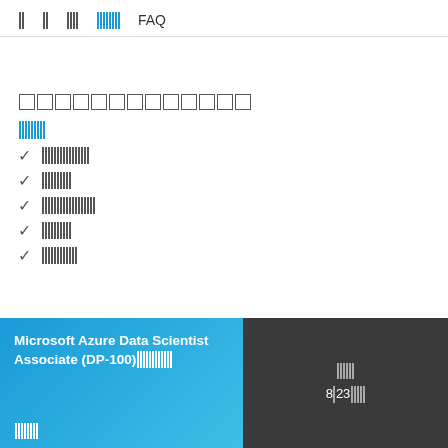□□  □□  □□□□  □□□□□□□□  FAQ
□□□□□□□□□□□□□
□□□□□□□□□
✓ □□□□□□□□□□□□□□□□
✓ □□□□□□□□□□
✓ □□□□□□□□□□□□□□□□□□
✓ □□□□□□□□□□
✓ □□□□□□□□□□□□
Microsoft Azure Data Scientist Associate (DP-100) □□□□□□□□□□□ □  □□□□□□□□
□□□□□□  8□23□ □□□□